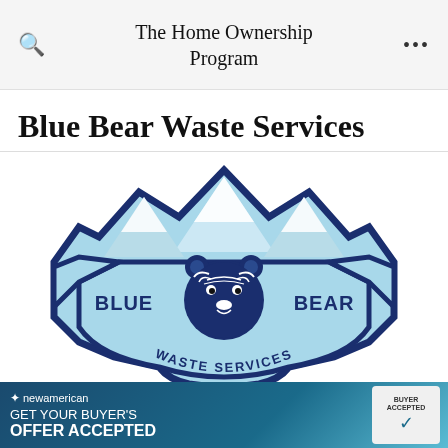The Home Ownership Program
Blue Bear Waste Services
[Figure (logo): Blue Bear Waste Services logo: a badge-shaped emblem in light blue with dark navy border. Features mountain peaks at the top with snow caps, a bear face in the center, text 'BLUE BEAR' on either side of the bear, and 'WASTE SERVICES' along the bottom curve.]
[Figure (infographic): New American Funding advertisement banner: dark blue/teal gradient background. Text reads 'newamerican' with a star, 'GET YOUR BUYER'S OFFER ACCEPTED' in white. Shows a 'BUYER ACCEPTED' badge/certificate on the right side.]